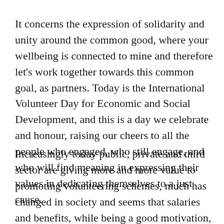It concerns the expression of solidarity and unity around the common good, where your wellbeing is connected to mine and therefore let's work together towards this common goal, as partners. Today is the International Volunteer Day for Economic and Social Development, and this is a day we celebrate and honour, raising our cheers to all the people who engaged, who still engage, and who will find meaning in expressing their values in dedicating themselves to a just cause.
Increasingly today public, private and third sector are giving more and more value to promoting volunteering schemes, much has changed in society and seems that salaries and benefits, while being a good motivation, are just as important as having a purpose and meaning in one's engagement and commitment, we can say